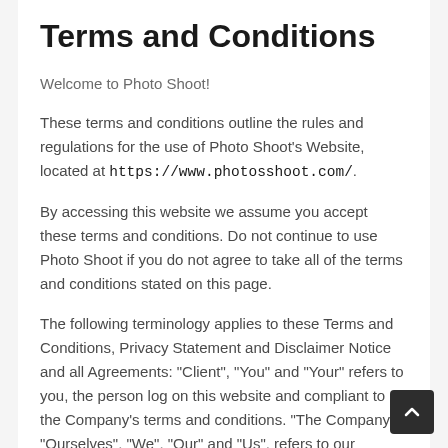Terms and Conditions
Welcome to Photo Shoot!
These terms and conditions outline the rules and regulations for the use of Photo Shoot's Website, located at https://www.photosshoot.com/.
By accessing this website we assume you accept these terms and conditions. Do not continue to use Photo Shoot if you do not agree to take all of the terms and conditions stated on this page.
The following terminology applies to these Terms and Conditions, Privacy Statement and Disclaimer Notice and all Agreements: "Client", "You" and "Your" refers to you, the person log on this website and compliant to the Company's terms and conditions. "The Company", "Ourselves", "We", "Our" and "Us", refers to our Company. "Party", "Parties", or "Us", refers to both the Client and ourselves. All terms refer to the